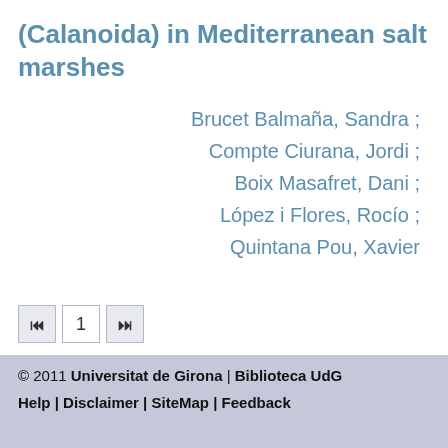(Calanoida) in Mediterranean salt marshes
Brucet Balmaña, Sandra ; Compte Ciurana, Jordi ; Boix Masafret, Dani ; López i Flores, Rocío ; Quintana Pou, Xavier
© 2011 Universitat de Girona | Biblioteca UdG
Help | Disclaimer | SiteMap | Feedback